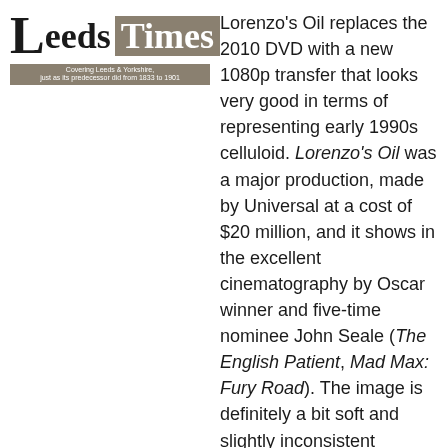[Figure (logo): Leeds Times newspaper logo with large serif L, 'eeds' in bold serif, 'Times' in white on dark background box, tagline 'Covering Leeds & Yorkshire, just as its predecessor did from 1833 to 1901']
Lorenzo's Oil replaces the 2010 DVD with a new 1080p transfer that looks very good in terms of representing early 1990s celluloid. Lorenzo's Oil was a major production, made by Universal at a cost of $20 million, and it shows in the excellent cinematography by Oscar winner and five-time nominee John Seale (The English Patient, Mad Max: Fury Road). The image is definitely a bit soft and slightly inconsistent between some shots, but this looks to